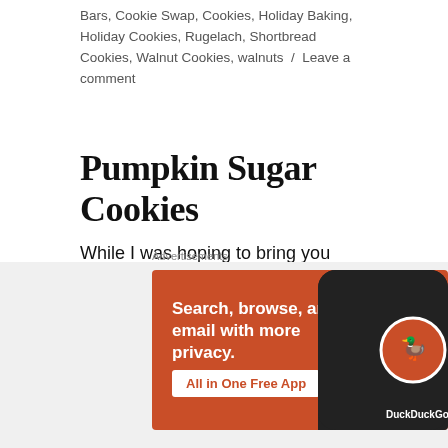Bars, Cookie Swap, Cookies, Holiday Baking, Holiday Cookies, Rugelach, Shortbread Cookies, Walnut Cookies, walnuts  /  Leave a comment
Pumpkin Sugar Cookies
While I was hoping to bring you pumpkin recipes right up until Thanksgiving, sadly I think this may be my last pumpkin recipe for the season. I've unfortunately tired out all of the people in quarantine circle with pumpkin treats. Today's
[Figure (screenshot): DuckDuckGo advertisement banner with orange background. Text reads: 'Search, browse, and email with more privacy. All in One Free App' with a phone showing DuckDuckGo logo.]